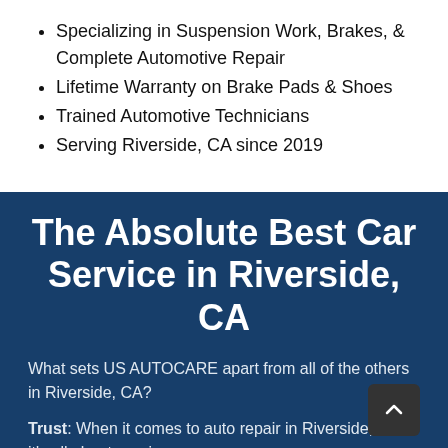Specializing in Suspension Work, Brakes, & Complete Automotive Repair
Lifetime Warranty on Brake Pads & Shoes
Trained Automotive Technicians
Serving Riverside, CA since 2019
The Absolute Best Car Service in Riverside, CA
What sets US AUTOCARE apart from all of the others in Riverside, CA?
Trust: When it comes to auto repair in Riverside, CA, it's all about earning